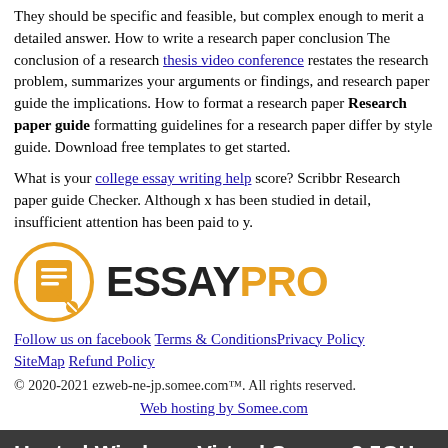They should be specific and feasible, but complex enough to merit a detailed answer. How to write a research paper conclusion The conclusion of a research thesis video conference restates the research problem, summarizes your arguments or findings, and research paper guide the implications. How to format a research paper Research paper guide formatting guidelines for a research paper differ by style guide. Download free templates to get started.
What is your college essay writing help score? Scribbr Research paper guide Checker. Although x has been studied in detail, insufficient attention has been paid to y.
[Figure (logo): EssayPro logo: orange circle with document/pen icon on left, ESSAYPRO text on right with PRO in orange]
Follow us on facebook Terms & Conditions Privacy Policy SiteMap Refund Policy
© 2020-2021 ezweb-ne-jp.somee.com™. All rights reserved.
Web hosting by Somee.com
Hosted Windows Virtual Server. 2.5GHz CPU, 2GB RAM, 60GB SSD. Try it now for $1!